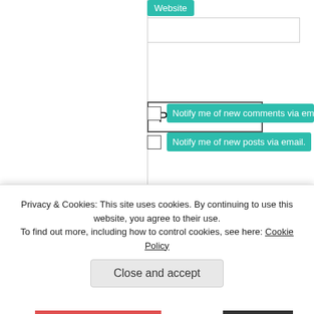[Figure (screenshot): Website label in teal/green color above a text input field]
[Figure (screenshot): Post Comment button with border]
Notify me of new comments via email.
Notify me of new posts via email.
← Previous post   Next
Privacy & Cookies: This site uses cookies. By continuing to use this website, you agree to their use. To find out more, including how to control cookies, see here: Cookie Policy
Close and accept